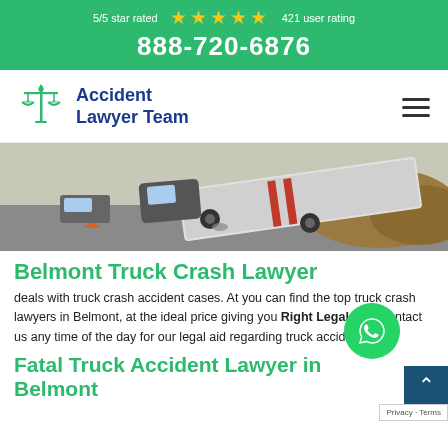5/5 star rated ★★★★★ 421 user rating
888-720-6876
[Figure (logo): Accident Lawyer Team logo with scales of justice icon]
[Figure (photo): Overturned semi-truck on a highway road, truck crash scene]
Belmont Truck Crash Lawyer
deals with truck crash accident cases. At you can find the top truck crash lawyers in Belmont, at the ideal price giving you Right Legal Aid. Contact us any time of the day for our legal aid regarding truck accidents.
Fatal Truck Accident Lawyer in Belmont